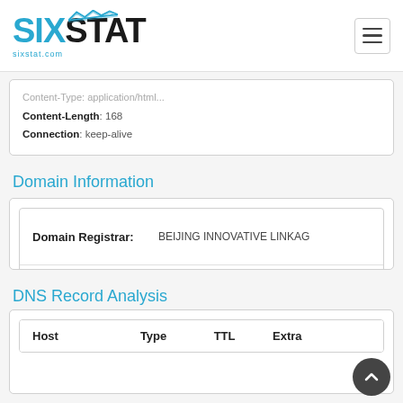SIXSTAT sixstat.com
Content-Type: application/html
Content-Length: 168
Connection: keep-alive
Domain Information
|  |  |
| --- | --- |
| Domain Registrar: | BEIJING INNOVATIVE LINKAG |
| Registration Date: | 2003-12-01  1 decade 8 years |
| Last Modified: | 2015-12-04  6 years 8 months |
| Expiration Date: | 2016-12-01  5 years 8 months |
DNS Record Analysis
| Host | Type | TTL | Extra |
| --- | --- | --- | --- |